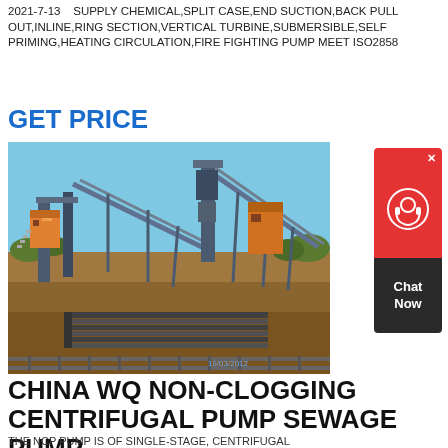2021-7-13   SUPPLY CHEMICAL,SPLIT CASE,END SUCTION,BACK PULL OUT,INLINE,RING SECTION,VERTICAL TURBINE,SUBMERSIBLE,SELF PRIMING,HEATING CIRCULATION,FIRE FIGHTING PUMP MEET ISO2858
GET PRICE
[Figure (photo): Outdoor industrial mining/conveyor plant facility with steel conveyor belt structures, orange machinery, open sky background, dirt ground. Date stamp 18/03/2012.]
CHINA WQ NON-CLOGGING CENTRIFUGAL PUMP SEWAGE PUMP
THE NCP PUMP IS OF SINGLE-STAGE, CENTRIFUGAL